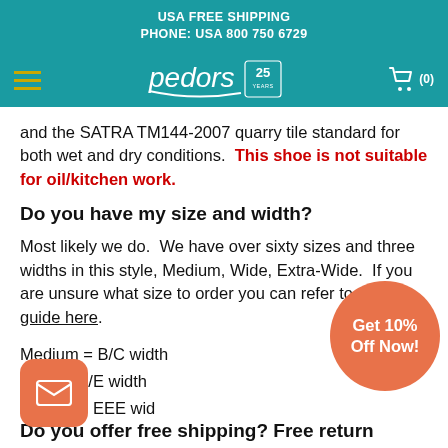USA FREE SHIPPING
PHONE: USA 800 750 6729
[Figure (logo): Pedors 25 Years logo with hamburger menu and cart icon on teal navigation bar]
and the SATRA TM144-2007 quarry tile standard for both wet and dry conditions. This shoe is not suitable for oil/kitchen work.
Do you have my size and width?
Most likely we do. We have over sixty sizes and three widths in this style, Medium, Wide, Extra-Wide. If you are unsure what size to order you can refer to our size guide here.
Medium = B/C width
Wide = D/E width
X-Wide = EEE wid...
[Figure (infographic): Orange circular promo bubble: Get 10% Off Now!]
[Figure (infographic): Orange rounded square mail/email icon button]
Do you offer free shipping? Free return